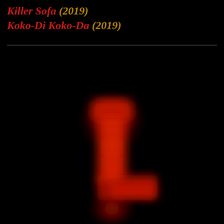Killer Sofa (2019)
Koko-Di Koko-Da (2019)
[Figure (photo): A dark, nearly black image featuring a glowing red blurred shape resembling the letter L or a cross/figure silhouette against a black background, centered in the lower half of the image.]